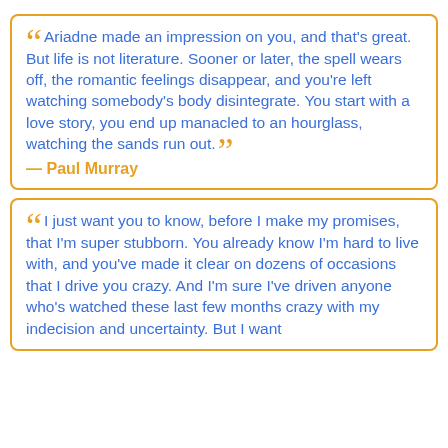“ Ariadne made an impression on you, and that's great. But life is not literature. Sooner or later, the spell wears off, the romantic feelings disappear, and you're left watching somebody's body disintegrate. You start with a love story, you end up manacled to an hourglass, watching the sands run out. ”
— Paul Murray
“ I just want you to know, before I make my promises, that I'm super stubborn. You already know I'm hard to live with, and you've made it clear on dozens of occasions that I drive you crazy. And I'm sure I've driven anyone who's watched these last few months crazy with my indecision and uncertainty. But I want…